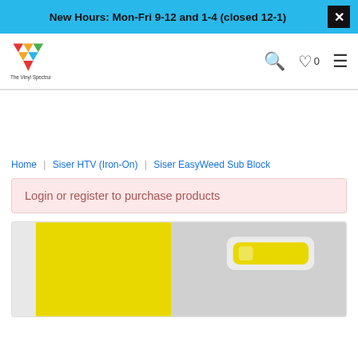New Hours: Mon-Fri 9-12 and 1-4 (closed 12-1)
[Figure (logo): The Vinyl Spectrum logo with colorful chevron/triangle icon and text]
Home | Siser HTV (Iron-On) | Siser EasyWeed Sub Block
Login or register to purchase products
[Figure (photo): Product photo showing yellow Siser EasyWeed Sub Block vinyl sheet on left and a rolled yellow vinyl on right against light gray background]